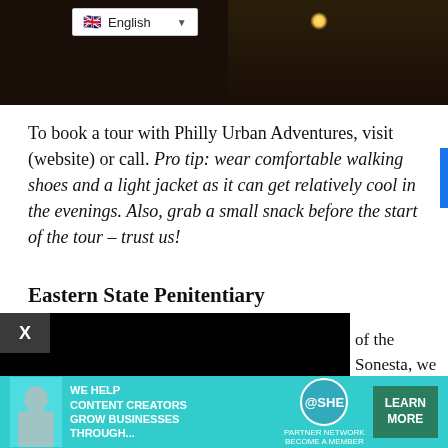[Figure (photo): Dark nighttime photo of a historic building with street lamp, with an English language selector dropdown overlay at top left]
To book a tour with Philly Urban Adventures, visit (website) or call. Pro tip: wear comfortable walking shoes and a light jacket as it can get relatively cool in the evenings. Also, grab a small snack before the start of the tour – trust us!
Eastern State Penitentiary
[Figure (screenshot): Embedded video player showing black screen with play button, progress bar at 78%, time 13:52, with controls for volume, CC, grid, settings, fullscreen. X close button at top left.]
of the Sonesta, we GPS: Eastern State
prison in the world – experience. We'll assu
[Figure (infographic): Advertisement banner: SHE Partner Network - We help content creators grow businesses through... Learn More button]